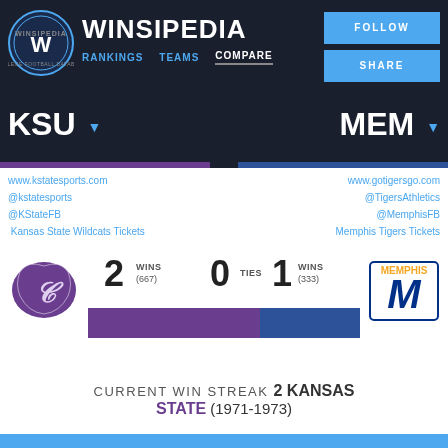[Figure (logo): Winsipedia logo circle with W]
WINSIPEDIA
RANKINGS   TEAMS   COMPARE
FOLLOW
SHARE
KSU
MEM
www.kstatesports.com
@kstatesports
@KStateFB
Kansas State Wildcats Tickets
www.gotigersgo.com
@TigersAthletics
@MemphisFB
Memphis Tigers Tickets
[Figure (logo): Kansas State Wildcats purple wildcat logo]
[Figure (logo): Memphis Tigers M logo]
[Figure (bar-chart): Head-to-head wins comparison]
2 WINS (667)   0 TIES   1 WINS (333)
CURRENT WIN STREAK 2 KANSAS STATE (1971-1973)